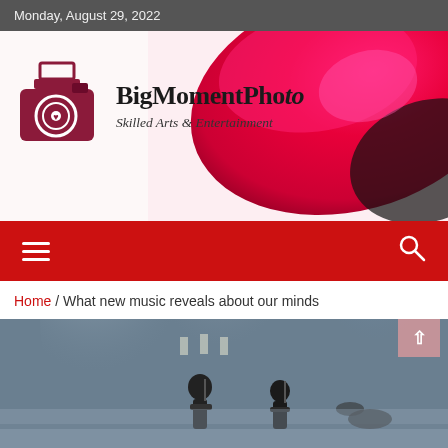Monday, August 29, 2022
[Figure (logo): BigMomentPhoto logo with camera icon, site title 'BigMomentPhoto' and tagline 'Skilled Arts & Entertainment', overlaid on a pink/red petal background photo]
[Figure (infographic): Red navigation bar with hamburger menu icon on left and search icon on right]
Home / What new music reveals about our minds
[Figure (photo): Concert stage photo showing musicians performing with dramatic lighting and fog effects]